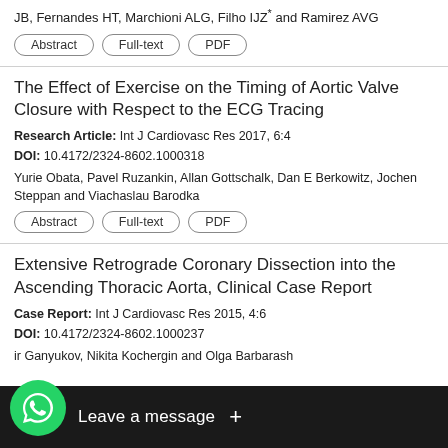JB, Fernandes HT, Marchioni ALG, Filho IJZ* and Ramirez AVG
Abstract | Full-text | PDF
The Effect of Exercise on the Timing of Aortic Valve Closure with Respect to the ECG Tracing
Research Article: Int J Cardiovasc Res 2017, 6:4
DOI: 10.4172/2324-8602.1000318
Yurie Obata, Pavel Ruzankin, Allan Gottschalk, Dan E Berkowitz, Jochen Steppan and Viachaslau Barodka
Abstract | Full-text | PDF
Extensive Retrograde Coronary Dissection into the Ascending Thoracic Aorta, Clinical Case Report
Case Report: Int J Cardiovasc Res 2015, 4:6
DOI: 10.4172/2324-8602.1000237
ir Ganyukov, Nikita Kochergin and Olga Barbarash